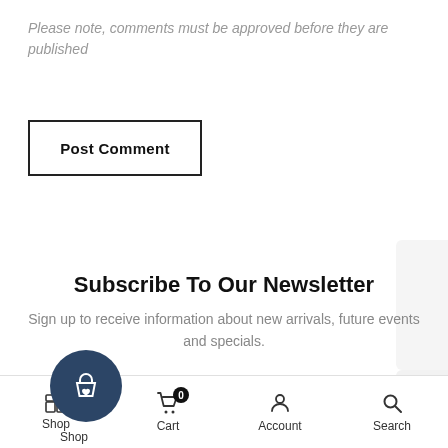Please note, comments must be approved before they are published
Post Comment
Subscribe To Our Newsletter
Sign up to receive information about new arrivals, future events and specials.
Your email address
Shop  Cart 0  Account  Search